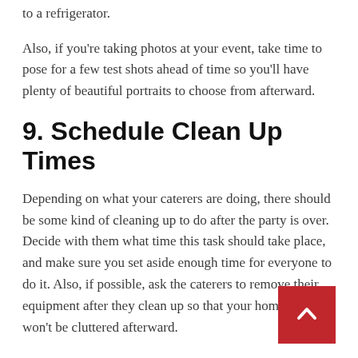to a refrigerator.
Also, if you're taking photos at your event, take time to pose for a few test shots ahead of time so you'll have plenty of beautiful portraits to choose from afterward.
9. Schedule Clean Up Times
Depending on what your caterers are doing, there should be some kind of cleaning up to do after the party is over. Decide with them what time this task should take place, and make sure you set aside enough time for everyone to do it. Also, if possible, ask the caterers to remove their equipment after they clean up so that your home or venue won't be cluttered afterward.
10. Check the event ticketing software
[Figure (other): Red back-to-top button with white upward chevron arrow in bottom right corner]